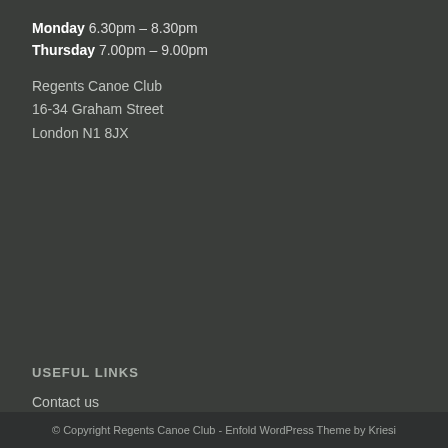Monday 6.30pm – 8.30pm
Thursday 7.00pm – 9.00pm
Regents Canoe Club
16-34 Graham Street
London N1 8JX
USEFUL LINKS
Contact us
Privacy Notice
© Copyright Regents Canoe Club - Enfold WordPress Theme by Kriesi